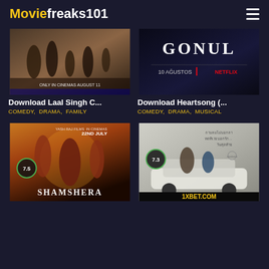Moviefreaks101
[Figure (screenshot): Laal Singh Chaddha movie poster - 'Only in Cinemas August 11']
Download Laal Singh C...
COMEDY,  DRAMA,  FAMILY
[Figure (screenshot): Gonul movie poster - '10 Agustos | Netflix']
Download Heartsong (...
COMEDY,  DRAMA,  MUSICAL
[Figure (screenshot): Shamshera movie poster with rating 7.5 - 'In Cinemas 22nd July']
[Figure (screenshot): Thai romantic movie poster with rating 7.3 - '1XBET.COM']